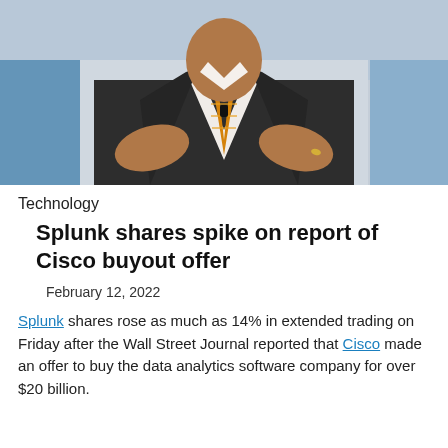[Figure (photo): A person in a dark business suit with an orange striped tie, gesturing with both hands, photographed from chest level, with a blurred outdoor background.]
Technology
Splunk shares spike on report of Cisco buyout offer
February 12, 2022
Splunk shares rose as much as 14% in extended trading on Friday after the Wall Street Journal reported that Cisco made an offer to buy the data analytics software company for over $20 billion.